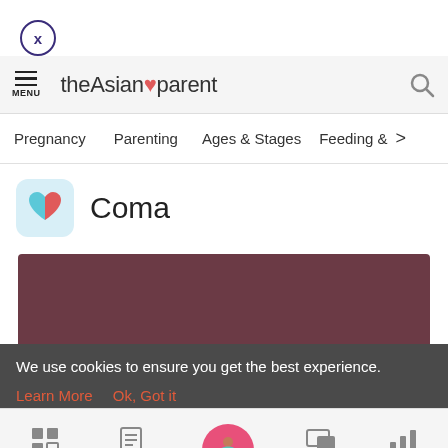[Figure (screenshot): Close button - circle with X]
theAsianparent — MENU, Search icon
Pregnancy   Parenting   Ages & Stages   Feeding & >
Coma
[Figure (photo): Dark mauve/burgundy colored rectangular image placeholder]
Tools  Articles  [home icon]  Feed  Poll
We use cookies to ensure you get the best experience.
Learn More   Ok, Got it